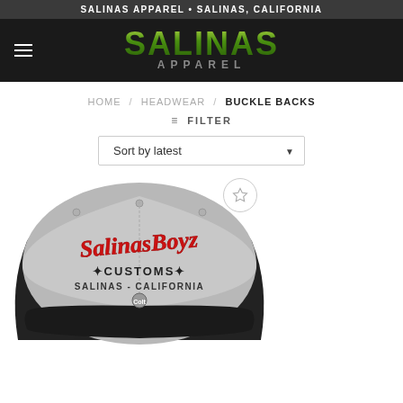SALINAS APPAREL • SALINAS, CALIFORNIA
[Figure (logo): Salinas Apparel logo — large green stylized text 'SALINAS' with 'APPAREL' in grey letterspacing below, on dark background]
HOME / HEADWEAR / BUCKLE BACKS
≡ FILTER
Sort by latest
[Figure (photo): Grey and black trucker cap with 'Salinas Boys' embroidered in red script, 'CUSTOMS' and 'SALINAS - CALIFORNIA' and a Colt logo patch below]